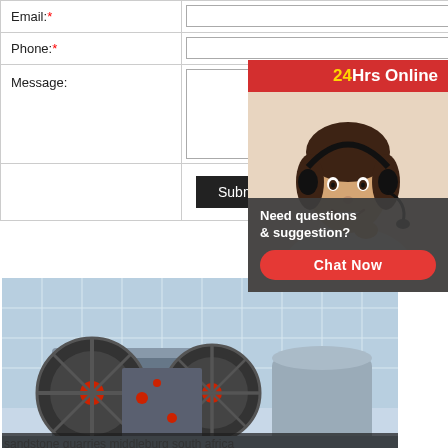| Field | Input |
| --- | --- |
| Email:* |  |
| Phone:* |  |
| Message: |  |
|  | Submit |
[Figure (illustration): Customer support representative with headset, '24Hrs Online' header in red with yellow '24', chat bubble with 'Need questions & suggestion?' and red 'Chat Now' button]
[Figure (photo): Industrial jaw crusher machine in a factory setting with large flywheels and industrial equipment. Email overlay: Email:lmzgvip@gmail.com]
sandstone quarries middleburg south africa